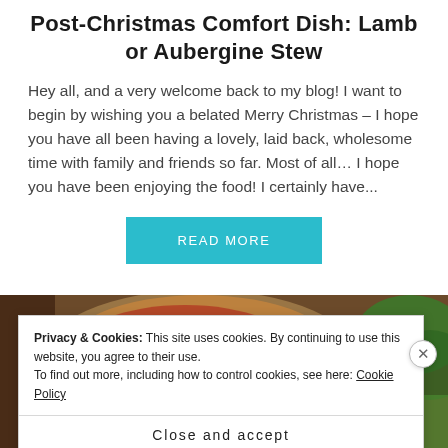Post-Christmas Comfort Dish: Lamb or Aubergine Stew
Hey all, and a very welcome back to my blog! I want to begin by wishing you a belated Merry Christmas – I hope you have all been having a lovely, laid back, wholesome time with family and friends so far. Most of all… I hope you have been enjoying the food! I certainly have...
READ MORE
[Figure (photo): Photo of a lamb or aubergine stew dish in a bowl, partially visible at the bottom of the page]
Privacy & Cookies: This site uses cookies. By continuing to use this website, you agree to their use.
To find out more, including how to control cookies, see here: Cookie Policy
Close and accept